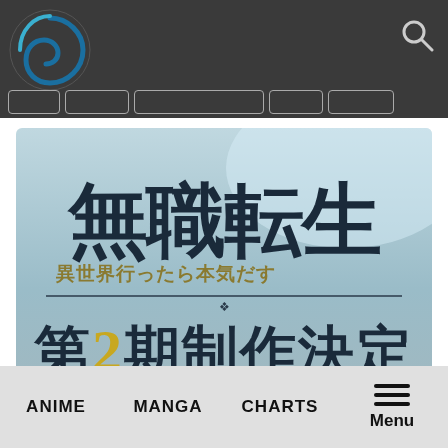Navigation bar with logo and search icon
[Figure (screenshot): Mushoku Tensei anime second season announcement image. Large Japanese text reads 無職転生 (Mushoku Tensei) with subtitle 異世界行ったら本気だす, and below 第2期制作決定 (Season 2 Production Decided). Background is a blue-grey gradient.]
ANIME   MANGA   CHARTS   Menu